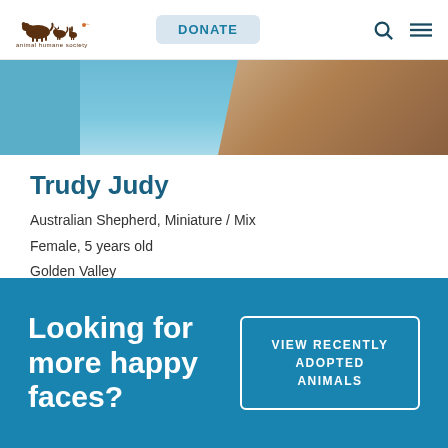[Figure (logo): Animal Humane Society logo — silhouettes of animals running with text 'animal humane society']
[Figure (photo): Partial photo of a dog with blue background visible at top of page]
Trudy Judy
Australian Shepherd, Miniature / Mix
Female, 5 years old
Golden Valley
Looking for more happy faces?
VIEW RECENTLY ADOPTED ANIMALS